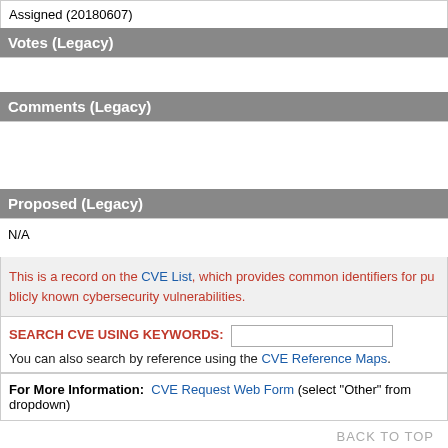| Assigned (20180607) |
| Votes (Legacy) |  |
| Comments (Legacy) |  |
| Proposed (Legacy) |  |
| N/A |  |
This is a record on the CVE List, which provides common identifiers for publicly known cybersecurity vulnerabilities.
SEARCH CVE USING KEYWORDS: You can also search by reference using the CVE Reference Maps.
For More Information: CVE Request Web Form (select "Other" from dropdown)
BACK TO TOP
Site Map | Terms of Use | Privacy Policy | Contact Us | Follow CVE
Use of the CVE® List and the associated references from this website are subject to the terms of use. CVE is sponsored by the U.S. Department of Homeland